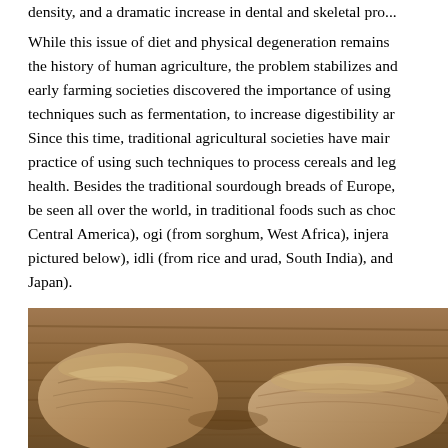density, and a dramatic increase in dental and skeletal pro...
While this issue of diet and physical degeneration remains the history of human agriculture, the problem stabilizes and early farming societies discovered the importance of using techniques such as fermentation, to increase digestibility an Since this time, traditional agricultural societies have main practice of using such techniques to process cereals and leg health. Besides the traditional sourdough breads of Europe, be seen all over the world, in traditional foods such as choc Central America), ogi (from sorghum, West Africa), injera pictured below), idli (from rice and urad, South India), and Japan).
[Figure (photo): A photograph of injera bread (thin, rolled flatbread) on a wooden surface]